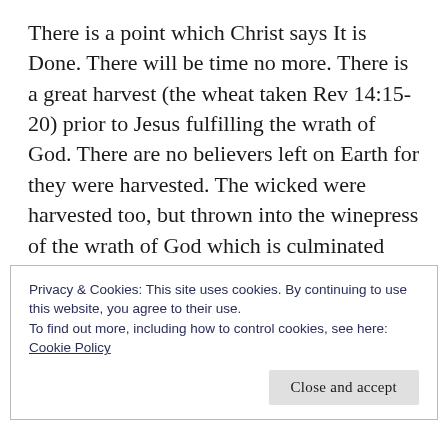There is a point which Christ says It is Done. There will be time no more. There is a great harvest (the wheat taken Rev 14:15-20) prior to Jesus fulfilling the wrath of God. There are no believers left on Earth for they were harvested. The wicked were harvested too, but thrown into the winepress of the wrath of God which is culminated with the return of Jesus (Rev 19:15). This stuff is not in perfect chronological order! It's like a dream. You have to
Privacy & Cookies: This site uses cookies. By continuing to use this website, you agree to their use.
To find out more, including how to control cookies, see here: Cookie Policy
Close and accept